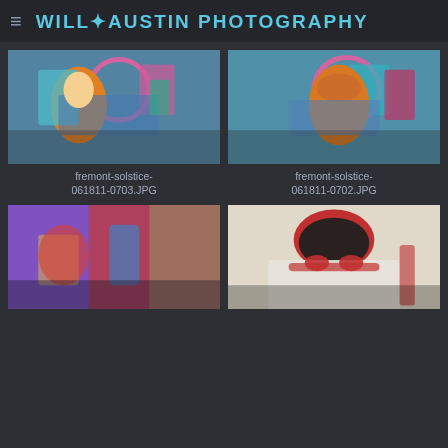WILL✦AUSTIN PHOTOGRAPHY
[Figure (photo): Girl in orange dress spinning hula hoop at Fremont Solstice parade, colorful float in background]
fremont-solstice-061811-0703.JPG
[Figure (photo): Girl in orange dress seen from behind at Fremont Solstice parade, colorful float with pink hoop]
fremont-solstice-061811-0702.JPG
[Figure (photo): Colorful parade float with purple and orange decorations at Fremont Solstice parade]
[Figure (photo): Man with red wig and red heart-shaped sunglasses in white suit at Fremont Solstice parade]